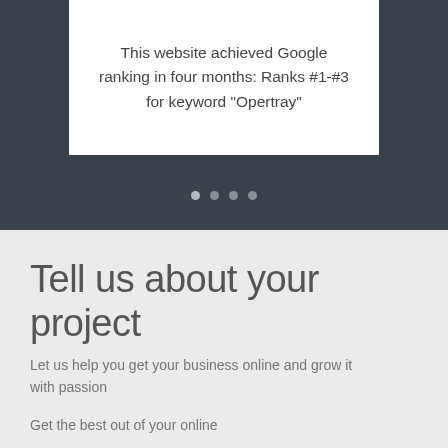This website achieved Google ranking in four months: Ranks #1-#3 for keyword “Opertray”
[Figure (other): Carousel navigation dots: four dots indicating slide position, first dot active]
Tell us about your project
Let us help you get your business online and grow it with passion
Get the best out of your online